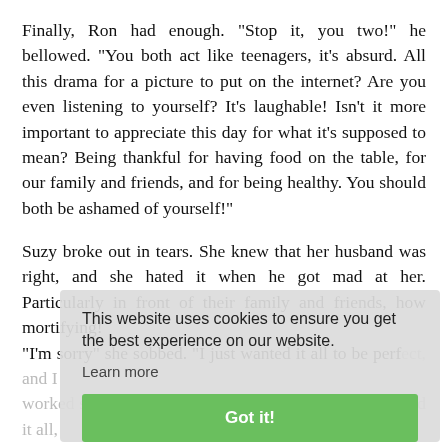Finally, Ron had enough. "Stop it, you two!" he bellowed. "You both act like teenagers, it's absurd. All this drama for a picture to put on the internet? Are you even listening to yourself? It's laughable! Isn't it more important to appreciate this day for what it's supposed to mean? Being thankful for having food on the table, for our family and friends, and for being healthy. You should both be ashamed of yourself!"

Suzy broke out in tears. She knew that her husband was right, and she hated it when he got mad at her. Particularly in front of their family and friends, how mortifying!
"I'm sorry" she sobbed. "I just wanted it all to be perfect, and I worked so hard to make it look nice, and now I've ruined it all, an... "No you haven't ruined..." "You didn't ruin anything, it all looks wonderful" they rushed to say 'You are crazy' Cym grumbled, but she did so quietly.

Ron hugged his emotional wife. "Why don't you wash our face sweater? And then, please, for the love of God, let's eat. I'm starving!" Suzy smiled through her tears, relieved that he wasn't angry any more. She looked up at him, a few tears
This website uses cookies to ensure you get the best experience on our website.
Learn more
Got it!